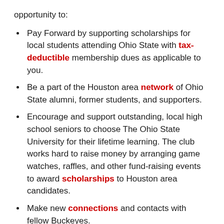opportunity to:
Pay Forward by supporting scholarships for local students attending Ohio State with tax-deductible membership dues as applicable to you.
Be a part of the Houston area network of Ohio State alumni, former students, and supporters.
Encourage and support outstanding, local high school seniors to choose The Ohio State University for their lifetime learning. The club works hard to raise money by arranging game watches, raffles, and other fund-raising events to award scholarships to Houston area candidates.
Make new connections and contacts with fellow Buckeyes.
Enjoy game watches and cheer on our Buckeyes particularly when we play TTUN.
Receive discounts from supporting vendors and our